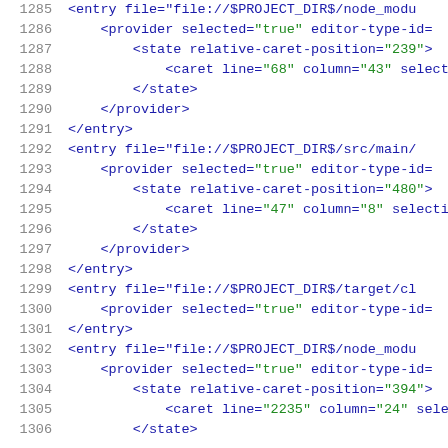Code snippet showing XML configuration with entry, provider, state, and caret elements. Lines 1285-1306.